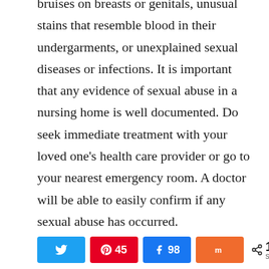bruises on breasts or genitals, unusual stains that resemble blood in their undergarments, or unexplained sexual diseases or infections. It is important that any evidence of sexual abuse in a nursing home is well documented. Do seek immediate treatment with your loved one's health care provider or go to your nearest emergency room. A doctor will be able to easily confirm if any sexual abuse has occurred.
[Figure (other): Social sharing bar with Twitter, Pinterest (45), Facebook (98), Mix buttons and a share count of 143 SHARES]